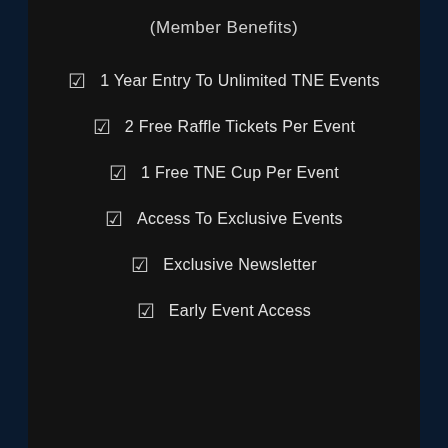(Member Benefits)
1 Year Entry To Unlimited TNE Events
2 Free Raffle Tickets Per Event
1 Free TNE Cup Per Event
Access To Exclusive Events
Exclusive Newsletter
Early Event Access